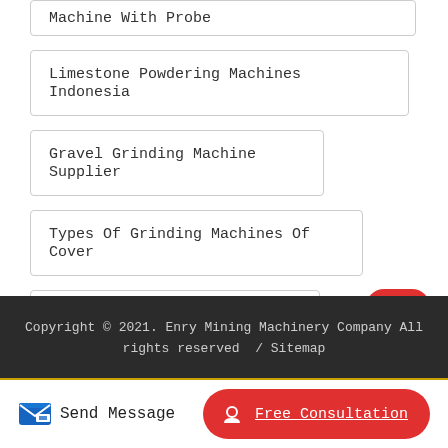Machine With Probe
Limestone Powdering Machines Indonesia
Gravel Grinding Machine Supplier
Types Of Grinding Machines Of Cover
Pulverizer Manufacturers In Kenya
Copyright © 2021. Enry Mining Machinery Company All rights reserved / Sitemap
Send Message
Free Consultation